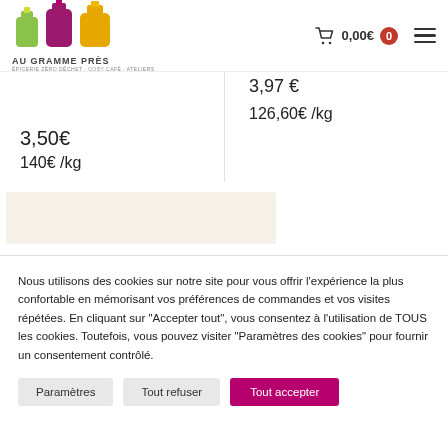[Figure (logo): Au Gramme Près logo with three colored bottle shapes (green, purple, yellow) and text 'AU GRAMME PRÈS' below]
0,00€  0
3,97€
3,50€
126,60€ /kg
140€ /kg
Nous utilisons des cookies sur notre site pour vous offrir l'expérience la plus confortable en mémorisant vos préférences de commandes et vos visites répétées. En cliquant sur "Accepter tout", vous consentez à l'utilisation de TOUS les cookies. Toutefois, vous pouvez visiter "Paramètres des cookies" pour fournir un consentement contrôlé.
Paramètres
Tout refuser
Tout accepter